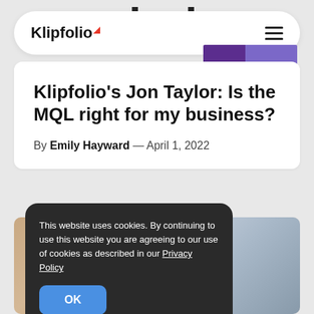[Figure (screenshot): Partial Slack logo text visible at top, cropped]
Klipfolio
[Figure (bar-chart): Small horizontal bar chart with dark purple and light purple bars]
Klipfolio's Jon Taylor: Is the MQL right for my business?
By Emily Hayward — April 1, 2022
This website uses cookies. By continuing to use this website you are agreeing to our use of cookies as described in our Privacy Policy
[Figure (photo): Partial photo of people at bottom of page]